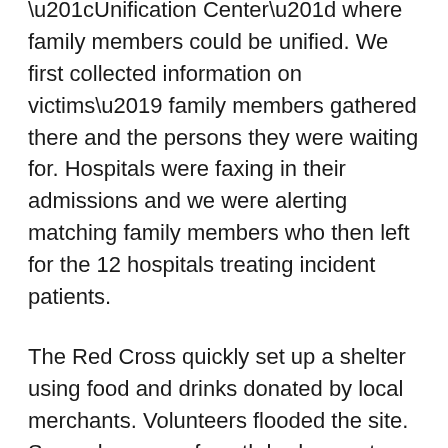“Unification Center” where family members could be unified. We first collected information on victims’ family members gathered there and the persons they were waiting for. Hospitals were faxing in their admissions and we were alerting matching family members who then left for the 12 hospitals treating incident patients.
The Red Cross quickly set up a shelter using food and drinks donated by local merchants. Volunteers flooded the site. Several groups of youth had come to volunteer and pray. I spoke with several of them to encourage their prayers and share other with them.